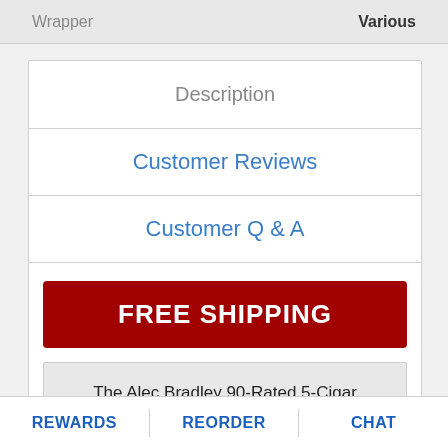| Wrapper | Various |
| --- | --- |
Description
Customer Reviews
Customer Q & A
FREE SHIPPING
The Alec Bradley 90-Rated 5-Cigar Sampler - Limit 1 Per Household is tagged with free shipping. If you order this product, your entire order will receive FREE BCP Ship Saver shipping!
REWARDS   REORDER   CHAT